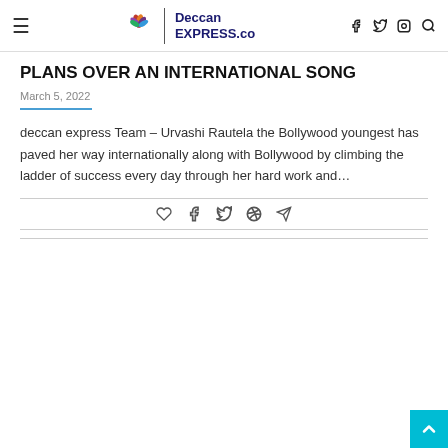≡  Deccan EXPRESS.co  [social icons]
PLANS OVER AN INTERNATIONAL SONG
March 5, 2022
deccan express Team – Urvashi Rautela the Bollywood youngest has paved her way internationally along with Bollywood by climbing the ladder of success every day through her hard work and…